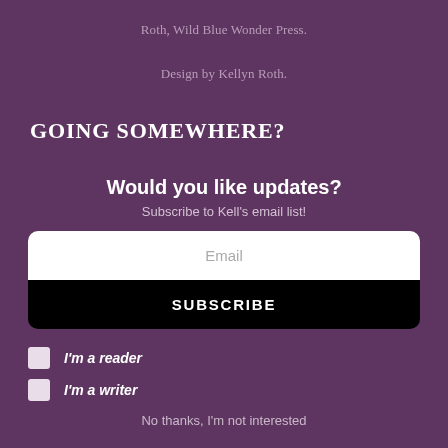Roth, Wild Blue Wonder Press.
Design by Kellyn Roth.
GOING SOMEWHERE?
Would you like updates?
Subscribe to Kell's email list!
Email
SUBSCRIBE
I'm a reader
I'm a writer
No thanks, I'm not interested